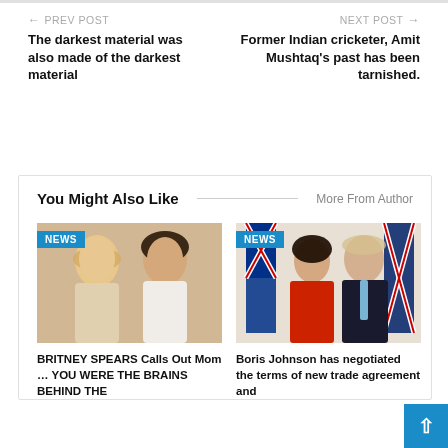← PREV POST
The darkest material was also made of the darkest material
NEXT POST →
Former Indian cricketer, Amit Mushtaq's past has been tarnished.
You Might Also Like
More From Author
[Figure (photo): Photo of two women — Britney Spears and her mother — with NEWS badge]
BRITNEY SPEARS Calls Out Mom … YOU WERE THE BRAINS BEHIND THE
[Figure (photo): Photo of two politicians — a woman in red jacket and a man in suit — with flags in background and NEWS badge]
Boris Johnson has negotiated the terms of new trade agreement and